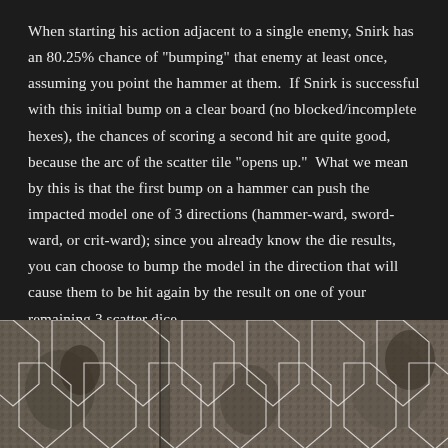When starting his action adjacent to a single enemy, Snirk has an 80.25% chance of "bumping" that enemy at least once, assuming you point the hammer at them.  If Snirk is successful with this initial bump on a clear board (no blocked/incomplete hexes), the chances of scoring a second hit are quite good, because the arc of the scatter tile "opens up."  What we mean by this is that the first bump on a hammer can push the impacted model one of 3 directions (hammer-ward, sword-ward, or crit-ward); since you already know the die results, you can choose to bump the model in the direction that will cause them to be hit again by the result on one of your remaining 3 scatter dice.
[Figure (illustration): Hex tile game board illustration showing hexagonal grid tiles with detailed stone/earth artwork and miniature figures, rendered in muted greyscale-brown tones with white hex grid lines.]